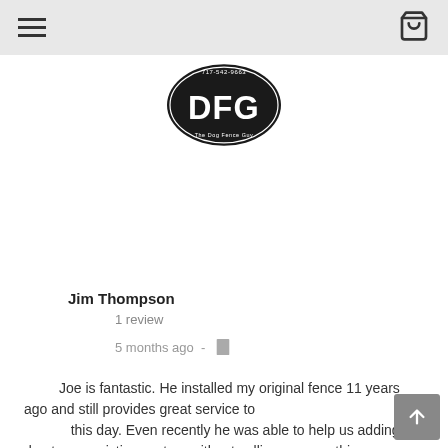Navigation bar with hamburger menu and shopping cart icon
[Figure (logo): DFG (Dog Fence Guy) oval logo with phone number 717-542-9663, black oval with white bold DFG text]
Jim Thompson
1 review
5 months ago -
Joe is fantastic. He installed my original fence 11 years ago and still provides great service to this day. Even recently he was able to help us adding a dog to our existing system without selling us something we didn't need like some other dog fence businesses.